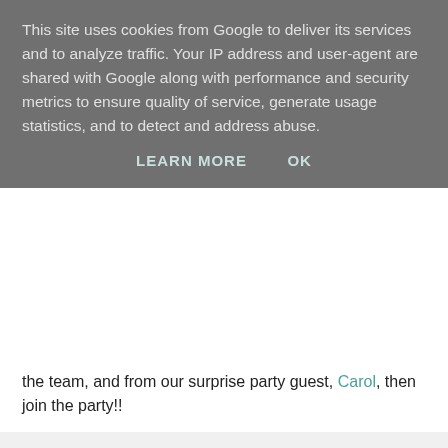This site uses cookies from Google to deliver its services and to analyze traffic. Your IP address and user-agent are shared with Google along with performance and security metrics to ensure quality of service, generate usage statistics, and to detect and address abuse.
LEARN MORE   OK
the team, and from our surprise party guest, Carol, then join the party!!
shirley-bee at 17:00   10 comments:
Share
Tuesday, November 09, 2021
STAMPlorations Inspiration #342
[Figure (photo): Photo of white flowers on a grey/speckled background]